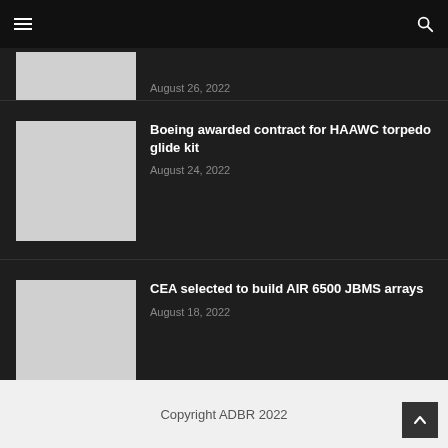Navigation bar with hamburger menu and search icon
August 26, 2022
Boeing awarded contract for HAAWC torpedo glide kit
August 24, 2022
CEA selected to build AIR 6500 JBMS arrays
August 18, 2022
Copyright ADBR 2022